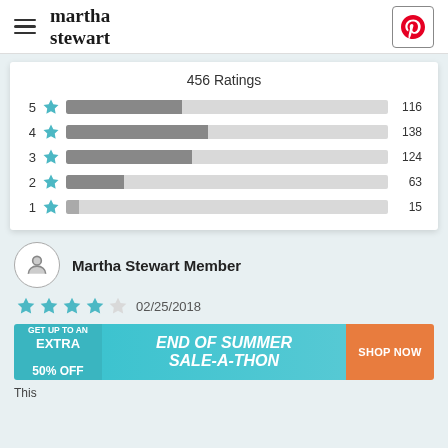martha stewart
456 Ratings
[Figure (bar-chart): 456 Ratings]
Martha Stewart Member
02/25/2018
[Figure (infographic): End of Summer Sale-A-Thon advertisement banner: GET UP TO AN EXTRA 50% OFF, SHOP NOW]